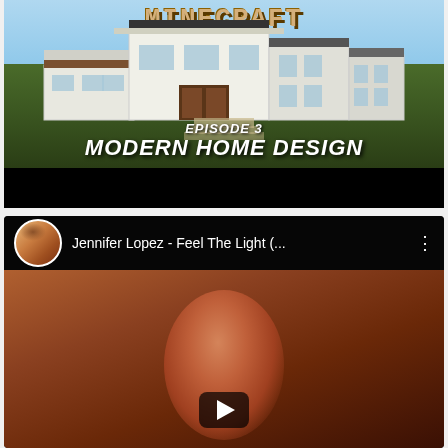[Figure (screenshot): Minecraft YouTube video thumbnail showing a modern house build with text overlay 'EPISODE 3 MODERN HOME DESIGN' and Minecraft logo at top]
[Figure (screenshot): YouTube video card for 'Jennifer Lopez - Feel The Light (...)' showing avatar circle with Jennifer Lopez photo, video title in top bar, three-dot menu icon, and a face/music video still with play button]